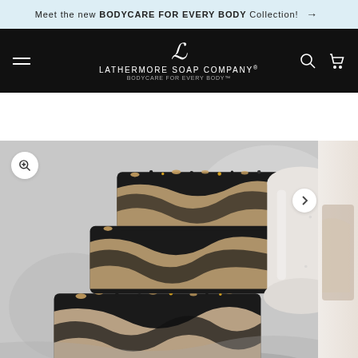Meet the new BODYCARE FOR EVERY BODY Collection! →
[Figure (logo): Lathermore Soap Company logo with script L, brand name, and tagline BODYCARE FOR EVERY BODY on black navigation bar with hamburger menu, search and cart icons]
[Figure (photo): Product photo of dark charcoal and cream swirled soap bars with oat and poppy seed toppings stacked on marble surface, with white ceramic vessel in background]